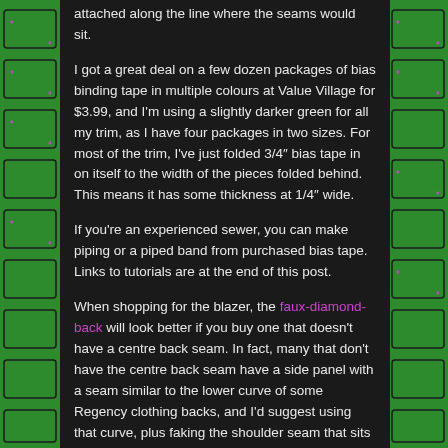attached along the line where the seams would sit.
I got a great deal on a few dozen packages of bias binding tape in multiple colours at Value Village for $3.99, and I'm using a slightly darker green for all my trim, as I have four packages in two sizes. For most of the trim, I've just folded 3/4" bias tape in on itself to the width of the pieces folded behind. This means it has some thickness at 1/4" wide.
If you're an experienced sewer, you can make piping or a piped band from purchased bias tape. Links to tutorials are at the end of this post.
When shopping for the blazer, the faux-diamond-back will look better if you buy one that doesn't have a centre back seam. In fact, many that don't have the centre back seam have a side panel with a seam similar to the lower curve of some Regency clothing backs, and I'd suggest using that curve, plus faking the shoulder seam that sits two or more inches behind the modern one.